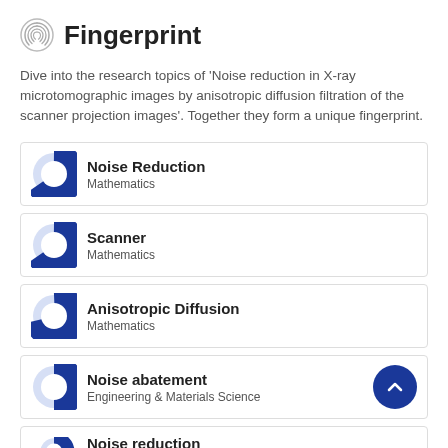Fingerprint
Dive into the research topics of 'Noise reduction in X-ray microtomographic images by anisotropic diffusion filtration of the scanner projection images'. Together they form a unique fingerprint.
Noise Reduction
Mathematics
Scanner
Mathematics
Anisotropic Diffusion
Mathematics
Noise abatement
Engineering & Materials Science
Noise reduction